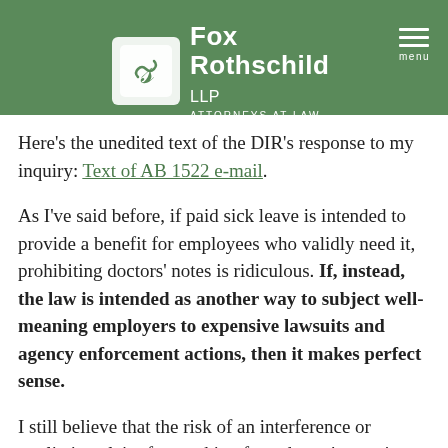provide a note constitutes retaliation" according to the unique facts of the case"
Fox Rothschild LLP - Attorneys at Law
Here's the unedited text of the DIR's response to my inquiry: Text of AB 1522 e-mail.
As I've said before, if paid sick leave is intended to provide a benefit for employees who validly need it, prohibiting doctors' notes is ridiculous. If, instead, the law is intended as another way to subject well-meaning employers to expensive lawsuits and agency enforcement actions, then it makes perfect sense.
I still believe that the risk of an interference or retaliation claim from asking for a doctor's note is less than the risk of employees abusing this leave to get three extra paid days off per year. However